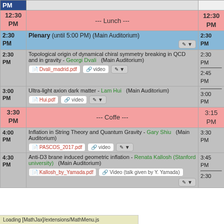| Time | Event | Time |
| --- | --- | --- |
| 12:30 PM | --- Lunch --- | 12:30 PM |
| 2:30 PM | Plenary (until 5:00 PM) (Main Auditorium) | 2:30 PM |
| 2:30 PM | Topological origin of dynamical chiral symmetry breaking in QCD and in gravity - Georgi Dvali (Main Auditorium) | Dvali_madrid.pdf | video | 2:30 PM / 2:45 PM |
| 3:00 PM | Ultra-light axion dark matter - Lam Hui (Main Auditorium) | Hui.pdf | video | 3:00 PM |
| 3:30 PM | --- Coffe --- | 3:15 PM |
| 4:00 PM | Inflation in String Theory and Quantum Gravity - Gary Shiu (Main Auditorium) | PASCOS_2017.pdf | video | 3:30 PM |
| 4:30 PM | Anti-D3 brane induced geometric inflation - Renata Kallosh (Stanford university) (Main Auditorium) | Kallosh_by_Yamada.pdf | Video (talk given by Y. Yamada) | 3:45 PM |
|  |  | 2:30 PM |
Loading [MathJax]/extensions/MathMenu.js